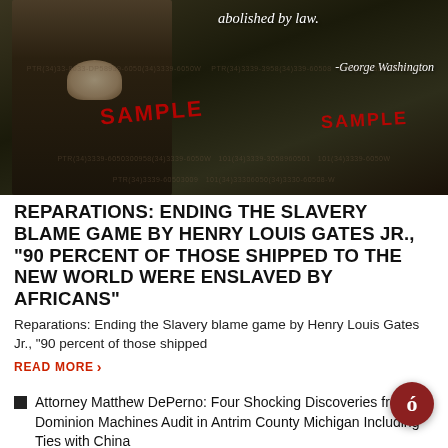[Figure (photo): Portrait painting of a historical figure (George Washington) in dark clothing with white collar, overlaid with italic quote text '...abolished by law.' attributed to -George Washington, and red SAMPLE watermarks]
REPARATIONS: ENDING THE SLAVERY BLAME GAME BY HENRY LOUIS GATES JR., "90 PERCENT OF THOSE SHIPPED TO THE NEW WORLD WERE ENSLAVED BY AFRICANS"
Reparations: Ending the Slavery blame game by Henry Louis Gates Jr., "90 percent of those shipped
READ MORE ›
Attorney Matthew DePerno: Four Shocking Discoveries from the Dominion Machines Audit in Antrim County Michigan Including Ties with China
Wisconsin 2020 election investigation approved by